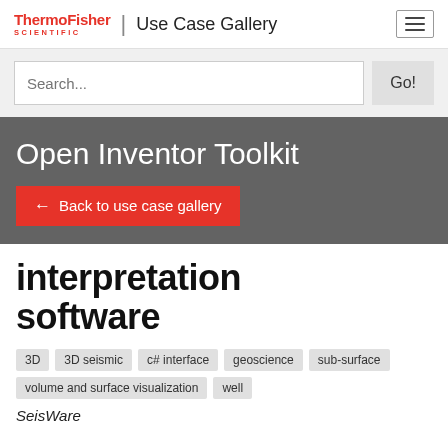ThermoFisher SCIENTIFIC | Use Case Gallery
Search...
Open Inventor Toolkit
← Back to use case gallery
interpretation software
3D
3D seismic
c# interface
geoscience
sub-surface
volume and surface visualization
well
SeisWare